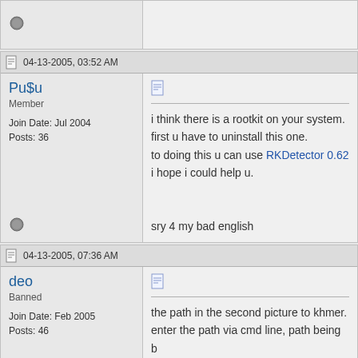[top stub - partial post row with offline icon]
04-13-2005, 03:52 AM
Pu$u
Member
Join Date: Jul 2004
Posts: 36
i think there is a rootkit on your system. first u have to uninstall this one. to doing this u can use RKDetector 0.62 i hope i could help u.

sry 4 my bad english
04-13-2005, 07:36 AM
deo
Banned
Join Date: Feb 2005
Posts: 46
the path in the second picture to khmer. enter the path via cmd line, path being b take you to whatever it refers to, probab